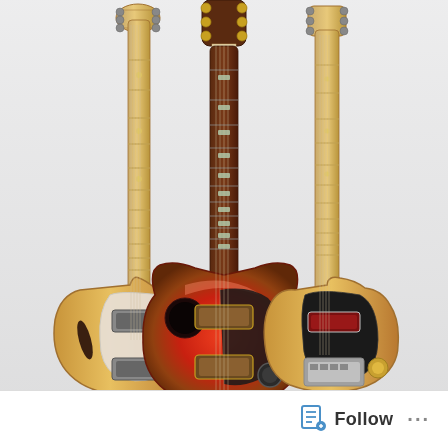[Figure (photo): Three electric guitars leaning against a white wall. Left: a semi-hollow natural wood Fender Telecaster Thinline with pearl pickguard and humbuckers. Center: a red sunburst Gibson-style Les Paul with dark pickguard and humbuckers, dark rosewood fretboard with gold tuners. Right: a natural wood Fender Telecaster with black pickguard and maple fretboard.]
Follow ...